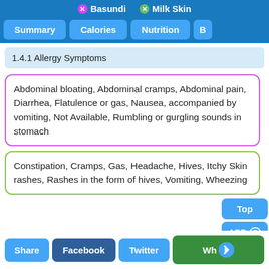X Basundi X Milk Skin
Summary | Calories | Nutrition | B
1.4.1 Allergy Symptoms
Abdominal bloating, Abdominal cramps, Abdominal pain, Diarrhea, Flatulence or gas, Nausea, accompanied by vomiting, Not Available, Rumbling or gurgling sounds in stomach
Constipation, Cramps, Gas, Headache, Hives, Itchy Skin rashes, Rashes in the form of hives, Vomiting, Wheezing
Share | Facebook | Twitter | Wh